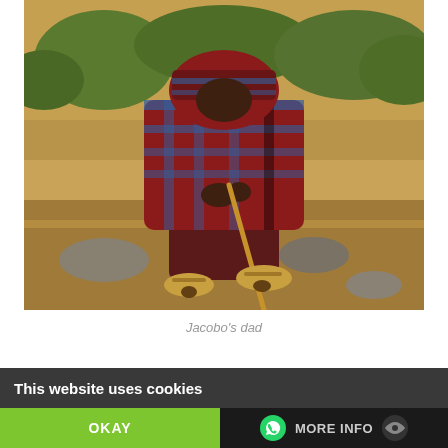[Figure (photo): An elderly person wearing a red-blue plaid wrap sitting on rocky dry ground, holding a wooden walking stick, wearing tan sandals. Dry grass and shrubs visible in background.]
Jacobo's dad
This website uses cookies
OKAY
MORE INFO